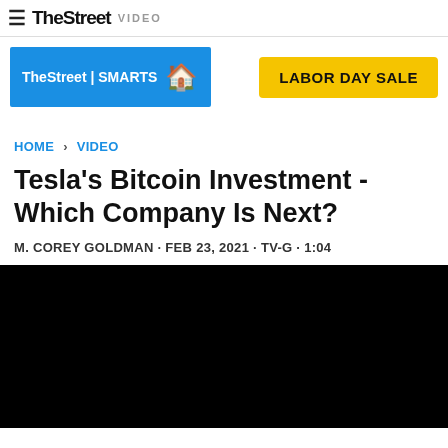TheStreet VIDEO
[Figure (screenshot): TheStreet | SMARTS advertisement badge with house icon]
[Figure (screenshot): LABOR DAY SALE yellow button advertisement]
HOME > VIDEO
Tesla's Bitcoin Investment - Which Company Is Next?
M. COREY GOLDMAN · FEB 23, 2021 · TV-G · 1:04
[Figure (screenshot): Black video player area]